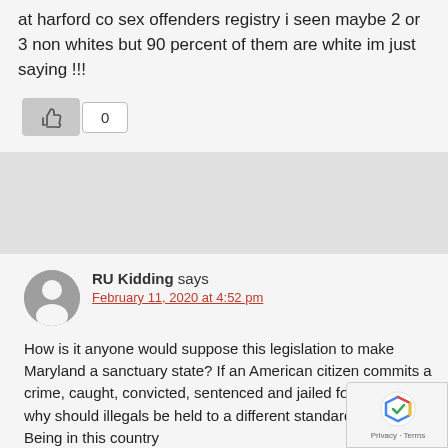at harford co sex offenders registry i seen maybe 2 or 3 non whites but 90 percent of them are white im just saying !!!
[Figure (screenshot): Like button (thumbs up icon) with count 0]
RU Kidding says
February 11, 2020 at 4:52 pm
How is it anyone would suppose this legislation to make Maryland a sanctuary state? If an American citizen commits a crime, caught, convicted, sentenced and jailed for that crime why should illegals be held to a different standard of justice? Being in this country